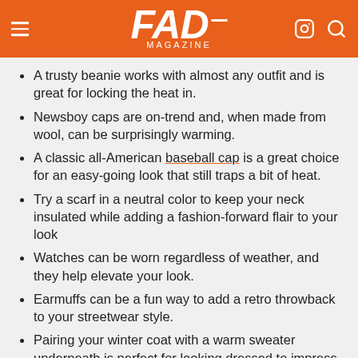FAD magazine
A trusty beanie works with almost any outfit and is great for locking the heat in.
Newsboy caps are on-trend and, when made from wool, can be surprisingly warming.
A classic all-American baseball cap is a great choice for an easy-going look that still traps a bit of heat.
Try a scarf in a neutral color to keep your neck insulated while adding a fashion-forward flair to your look
Watches can be worn regardless of weather, and they help elevate your look.
Earmuffs can be a fun way to add a retro throwback to your streetwear style.
Pairing your winter coat with a warm sweater underneath is perfect for looking dressed to impress when you go indoors.
Sunglasses that look sweet while protecting your eyes from the glare of bright white snow